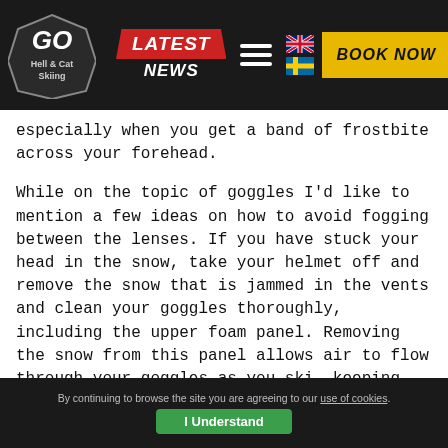GO Hell & Cat Skiing — LATEST NEWS | BOOK NOW
especially when you get a band of frostbite across your forehead.
While on the topic of goggles I'd like to mention a few ideas on how to avoid fogging between the lenses. If you have stuck your head in the snow, take your helmet off and remove the snow that is jammed in the vents and clean your goggles thoroughly, including the upper foam panel. Removing the snow from this panel allows air to flow through your goggles as you ski, keeping the lenses from fogging. I also like to keep a tech cloth in my pocket at all times so that when I pause on a run I can wipe excess snow off.
The last tip I will suggest is to pay attention to your climate control; if you're getting sweaty remove a layer to avoid overheating.
By continuing to browse the site you are agreeing to our use of cookies. I Understand